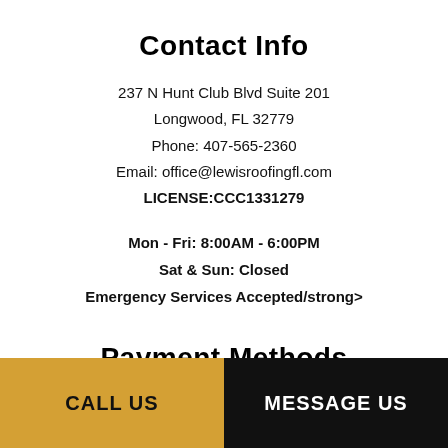Contact Info
237 N Hunt Club Blvd Suite 201
Longwood, FL 32779
Phone: 407-565-2360
Email: office@lewisroofingfl.com
LICENSE:CCC1331279
Mon - Fri: 8:00AM - 6:00PM
Sat & Sun: Closed
Emergency Services Accepted/strong>
Payment Methods
CALL US
MESSAGE US